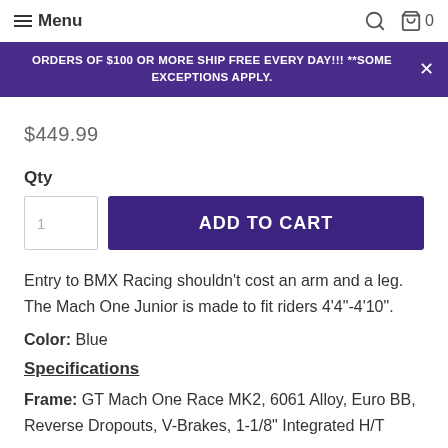Menu  🔍 🛒 0
ORDERS OF $100 OR MORE SHIP FREE EVERY DAY!!! **SOME EXCEPTIONS APPLY.
$449.99
Qty
1  ADD TO CART
Entry to BMX Racing shouldn't cost an arm and a leg. The Mach One Junior is made to fit riders 4'4"-4'10".
Color: Blue
Specifications
Frame: GT Mach One Race MK2, 6061 Alloy, Euro BB, Reverse Dropouts, V-Brakes, 1-1/8" Integrated H/T
Fork: GT BMX Race, Hi-Ten Steel 1" Steerer, 3/8"